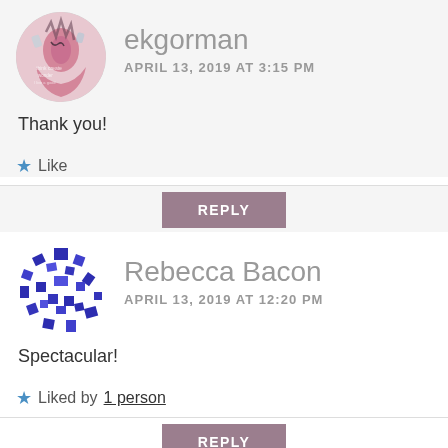ekgorman
APRIL 13, 2019 AT 3:15 PM
Thank you!
Like
REPLY
Rebecca Bacon
APRIL 13, 2019 AT 12:20 PM
Spectacular!
Liked by 1 person
REPLY